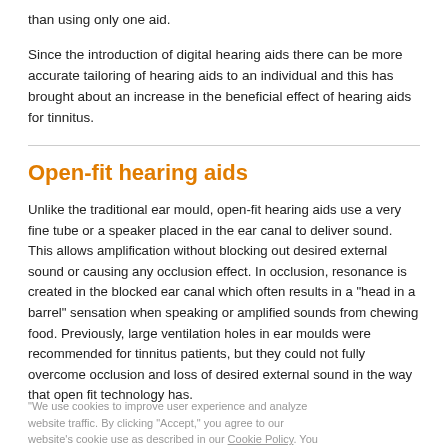than using only one aid.
Since the introduction of digital hearing aids there can be more accurate tailoring of hearing aids to an individual and this has brought about an increase in the beneficial effect of hearing aids for tinnitus.
Open-fit hearing aids
Unlike the traditional ear mould, open-fit hearing aids use a very fine tube or a speaker placed in the ear canal to deliver sound. This allows amplification without blocking out desired external sound or causing any occlusion effect. In occlusion, resonance is created in the blocked ear canal which often results in a "head in a barrel" sensation when speaking or amplified sounds from chewing food. Previously, large ventilation holes in ear moulds were recommended for tinnitus patients, but they could not fully overcome occlusion and loss of desired external sound in the way that open fit technology has.